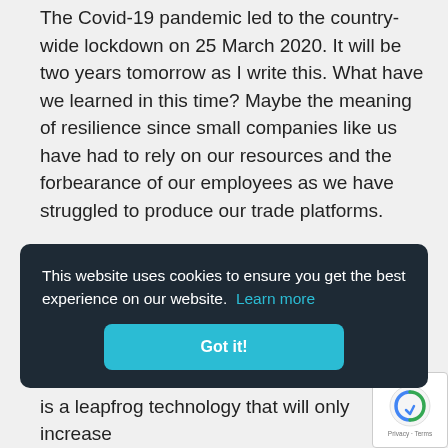The Covid-19 pandemic led to the country-wide lockdown on 25 March 2020. It will be two years tomorrow as I write this. What have we learned in this time? Maybe the meaning of resilience since small companies like us have had to rely on our resources and the forbearance of our employees as we have struggled to produce our trade platforms.
The print and packaging industries have been fortunate, although the commercial printing industry still to recover. We have learned and...
This website uses cookies to ensure you get the best experience on our website. Learn more
Got it!
is a leapfrog technology that will only increase